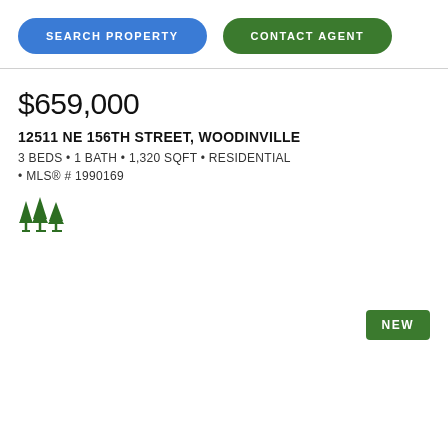SEARCH PROPERTY
CONTACT AGENT
$659,000
12511 NE 156TH STREET, WOODINVILLE
3 BEDS • 1 BATH • 1,320 SQFT • RESIDENTIAL
• MLS® # 1990169
[Figure (logo): Green tree/forest icon (stylized pine trees)]
NEW